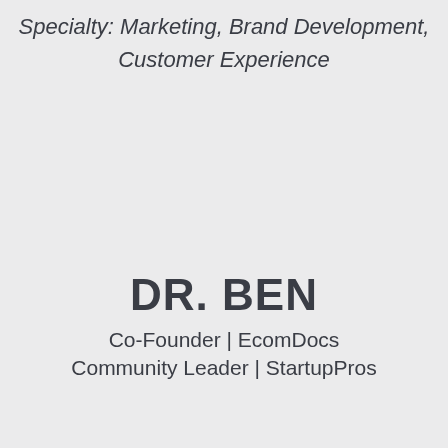Specialty: Marketing, Brand Development, Customer Experience
DR. BEN
Co-Founder | EcomDocs
Community Leader | StartupPros